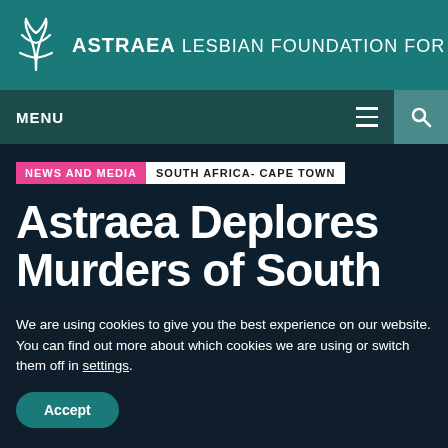ASTRAEA LESBIAN FOUNDATION FOR JUSTICE
MENU
NEWS AND MEDIA  SOUTH AFRICA- CAPE TOWN
Astraea Deplores Murders of South
We are using cookies to give you the best experience on our website.
You can find out more about which cookies we are using or switch them off in settings.
Accept